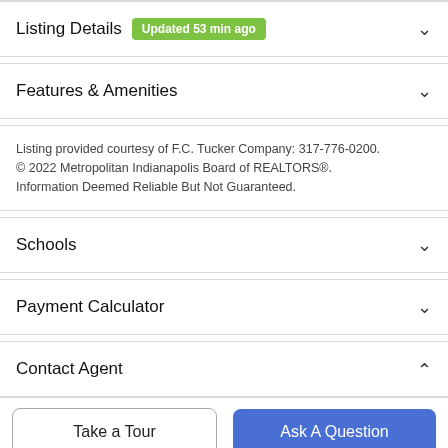Listing Details  Updated 53 min ago
Features & Amenities
Listing provided courtesy of F.C. Tucker Company: 317-776-0200. © 2022 Metropolitan Indianapolis Board of REALTORS®. Information Deemed Reliable But Not Guaranteed.
Schools
Payment Calculator
Contact Agent
Take a Tour
Ask A Question